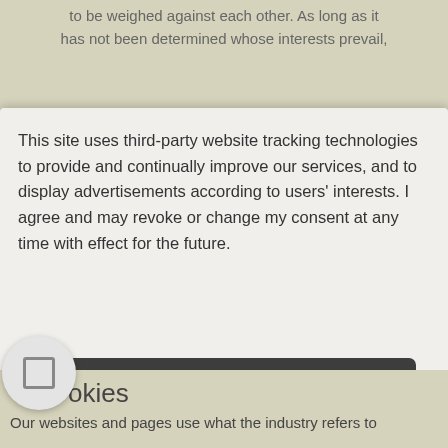to be weighed against each other. As long as it has not been determined whose interests prevail,
This site uses third-party website tracking technologies to provide and continually improve our services, and to display advertisements according to users' interests. I agree and may revoke or change my consent at any time with effect for the future.
Accept
Deny
more
Powered by usercentrics & eRecht24
okies
Our websites and pages use what the industry refers to